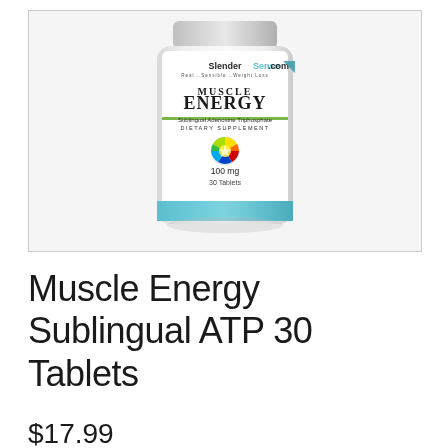[Figure (photo): Product photo of a white supplement bottle labeled 'Muscle Energy Sublingual Adenosine Triphosphate Dietary Supplement, 100 mg, 30 Tablets' with SlenderSense.com branding and a teal stripe at the bottom]
Muscle Energy Sublingual ATP 30 Tablets
$17.99